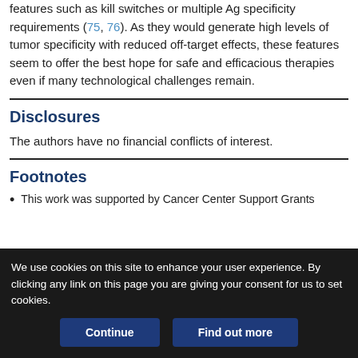features such as kill switches or multiple Ag specificity requirements (75, 76). As they would generate high levels of tumor specificity with reduced off-target effects, these features seem to offer the best hope for safe and efficacious therapies even if many technological challenges remain.
Disclosures
The authors have no financial conflicts of interest.
Footnotes
This work was supported by Cancer Center Support Grants
We use cookies on this site to enhance your user experience. By clicking any link on this page you are giving your consent for us to set cookies.